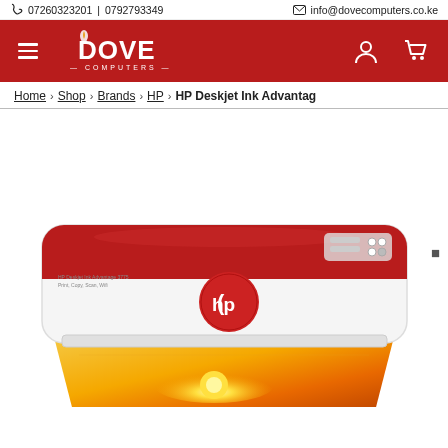07260323201079279334 info@dovecomputers.co.ke
[Figure (logo): Dove Computers logo on red header background with hamburger menu, user icon and cart icon]
Home > Shop > Brands > HP > HP Deskjet Ink Advantage
[Figure (photo): HP Deskjet Ink Advantage printer in red and white, shown with paper output tray open and a glowing sunset image being printed]